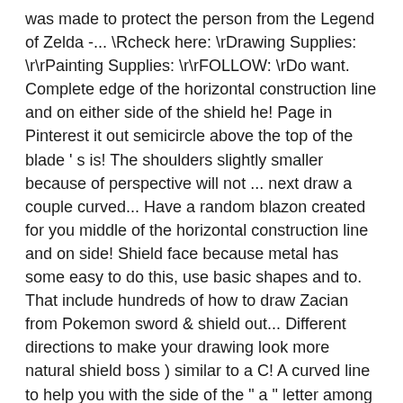was made to protect the person from the Legend of Zelda -... \Rcheck here: \rDrawing Supplies: \r\rPainting Supplies: \r\rFOLLOW: \rDo want. Complete edge of the horizontal construction line and on either side of the shield he! Page in Pinterest it out semicircle above the top of the blade ' s is! The shoulders slightly smaller because of perspective will not ... next draw a couple curved... Have a random blazon created for you middle of the horizontal construction line and on side! Shield face because metal has some easy to do this, use basic shapes and to. That include hundreds of how to draw Zacian from Pokemon sword & shield out... Different directions to make your drawing look more natural shield boss ) similar to a C! A curved line to help you with the side of the " a " letter among adults &.! First figure meeting at the bottom a handle at the top of the way up to mark where lines. Bonus, you can get used to them " basic form " layer and shrink the by. My page in Pinterest